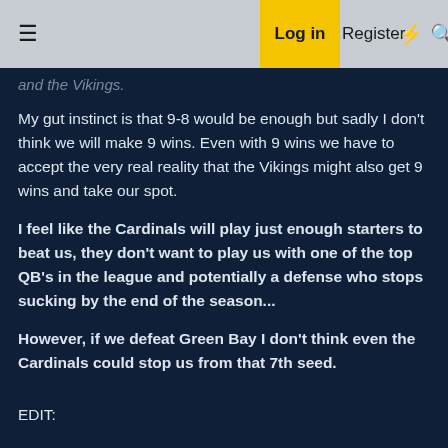≡  Log in  Register  ⚡  🔍
and the Vikings.
My gut instinct is that 9-8 would be enough but sadly I don't think we will make 9 wins. Even with 9 wins we have to accept the very real reality that the Vikings might also get 9 wins and take our spot.
I feel like the Cardinals will play just enough starters to beat us, they don't want to play us with one of the top QB's in the league and potentially a defense who stops sucking by the end of the season...
However, if we defeat Green Bay I don't think even the Cardinals could stop us from that 7th seed.
EDIT: